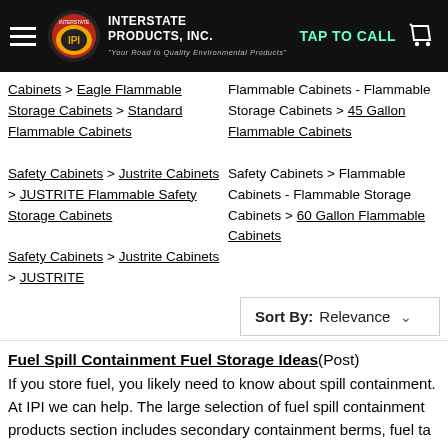Interstate Products, Inc. — TAP TO CALL
Cabinets > Eagle Flammable Storage Cabinets > Standard Flammable Cabinets
Safety Cabinets > Justrite Cabinets > JUSTRITE Flammable Safety Storage Cabinets
Safety Cabinets > Justrite Cabinets > JUSTRITE
Flammable Cabinets - Flammable Storage Cabinets > 45 Gallon Flammable Cabinets
Safety Cabinets > Flammable Cabinets - Flammable Storage Cabinets > 60 Gallon Flammable Cabinets
Sort By: Relevance
Fuel Spill Containment Fuel Storage Ideas (Post)
If you store fuel, you likely need to know about spill containment. At IPI we can help. The large selection of fuel spill containment products section includes secondary containment berms, fuel ta ...